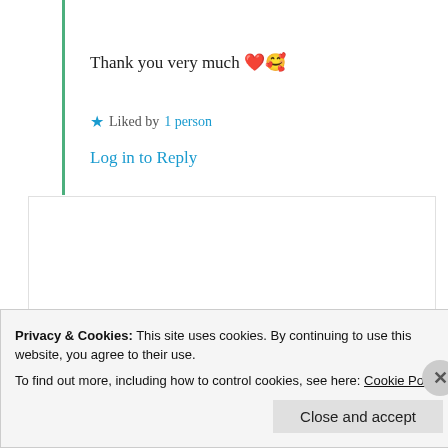Thank you very much ❤️🥰
★ Liked by 1 person
Log in to Reply
wiseseagoat
3rd Sep 2021 at 1:11 pm
Love is the answer
Privacy & Cookies: This site uses cookies. By continuing to use this website, you agree to their use. To find out more, including how to control cookies, see here: Cookie Policy
Close and accept